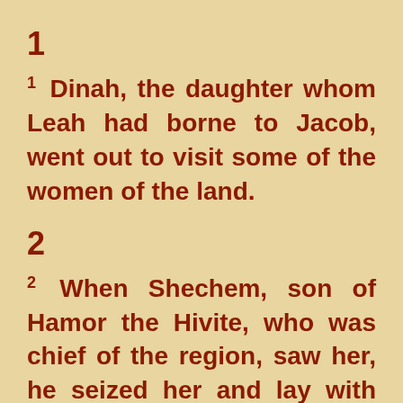1
1 Dinah, the daughter whom Leah had borne to Jacob, went out to visit some of the women of the land.
2
2 When Shechem, son of Hamor the Hivite, who was chief of the region, saw her, he seized her and lay with her by force.
3
Since he was strongly attracted to